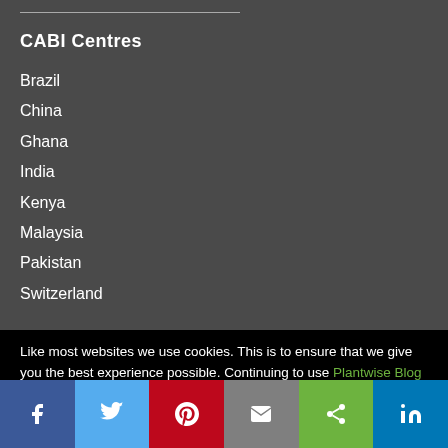CABI Centres
Brazil
China
Ghana
India
Kenya
Malaysia
Pakistan
Switzerland
Like most websites we use cookies. This is to ensure that we give you the best experience possible. Continuing to use Plantwise Blog means you agree to our use of cookies. If you would like to, you can learn more about the cookies we use here.